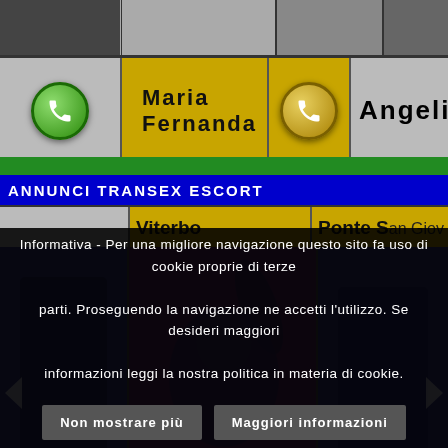[Figure (photo): Top strip of escort profile photos]
[Figure (photo): Card row with phone icons, Maria Fernanda and Angelica names]
ANNUNCI TRANSEX ESCORT
[Figure (photo): Location row showing Viterbo and Ponte San Giovanni]
[Figure (photo): Main carousel image of escort with arms raised, flanked by partial images, left arrow and right arrow navigation]
Informativa - Per una migliore navigazione questo sito fa uso di cookie proprie di terze parti. Proseguendo la navigazione ne accetti l'utilizzo. Se desideri maggiori informazioni leggi la nostra politica in materia di cookie.
Non mostrare più
Maggiori informazioni